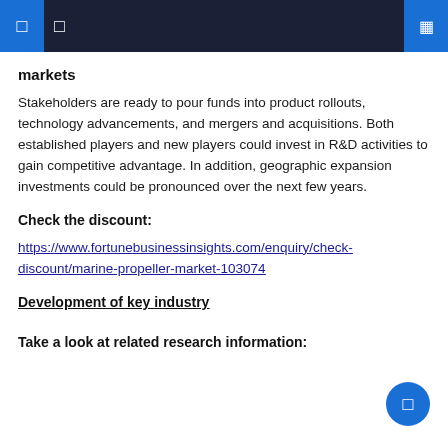Navigation bar with icons
markets
Stakeholders are ready to pour funds into product rollouts, technology advancements, and mergers and acquisitions. Both established players and new players could invest in R&D activities to gain competitive advantage. In addition, geographic expansion investments could be pronounced over the next few years.
Check the discount:
https://www.fortunebusinessinsights.com/enquiry/check-discount/marine-propeller-market-103074
Development of key industry
Take a look at related research information: